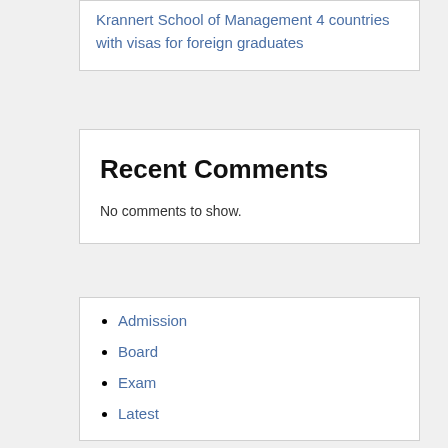Krannert School of Management 4 countries with visas for foreign graduates
Recent Comments
No comments to show.
Admission
Board
Exam
Latest